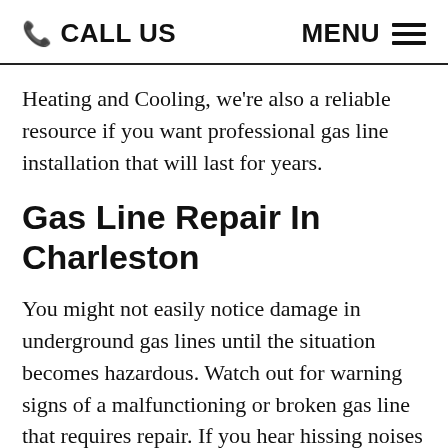📞 CALL US   MENU ☰
Heating and Cooling, we're also a reliable resource if you want professional gas line installation that will last for years.
Gas Line Repair In Charleston
You might not easily notice damage in underground gas lines until the situation becomes hazardous. Watch out for warning signs of a malfunctioning or broken gas line that requires repair. If you hear hissing noises behind your walls, it's probably a gas